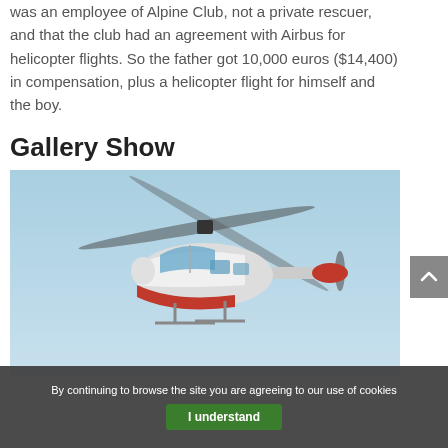was an employee of Alpine Club, not a private rescuer, and that the club had an agreement with Airbus for helicopter flights. So the father got 10,000 euros ($14,400) in compensation, plus a helicopter flight for himself and the boy.
Gallery Show
[Figure (photo): A red-and-white rescue helicopter flying against a clear blue sky, photographed from below with rotor blades in motion blur.]
By continuing to browse the site you are agreeing to our use of cookies
I understand